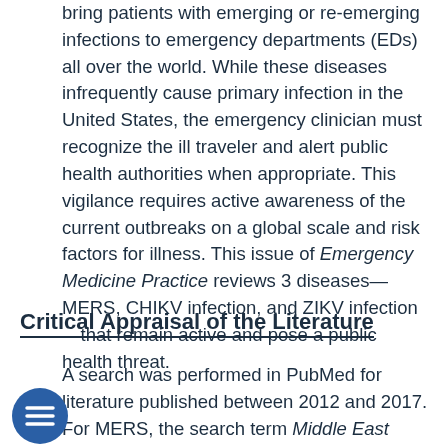bring patients with emerging or re-emerging infections to emergency departments (EDs) all over the world. While these diseases infrequently cause primary infection in the United States, the emergency clinician must recognize the ill traveler and alert public health authorities when appropriate. This vigilance requires active awareness of the current outbreaks on a global scale and risk factors for illness. This issue of Emergency Medicine Practice reviews 3 diseases—MERS, CHIKV infection, and ZIKV infection—that remain active and pose a public health threat.
Critical Appraisal of the Literature
A search was performed in PubMed for literature published between 2012 and 2017. For MERS, the search term Middle East respiratory syndrome